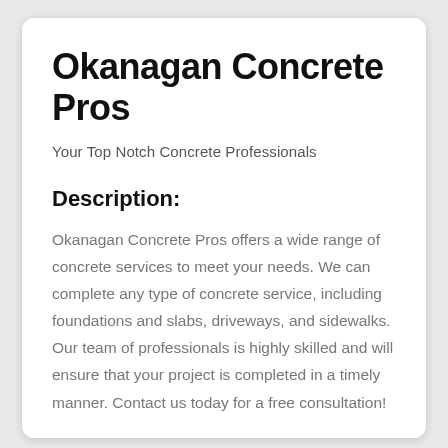Okanagan Concrete Pros
Your Top Notch Concrete Professionals
Description:
Okanagan Concrete Pros offers a wide range of concrete services to meet your needs. We can complete any type of concrete service, including foundations and slabs, driveways, and sidewalks. Our team of professionals is highly skilled and will ensure that your project is completed in a timely manner. Contact us today for a free consultation!